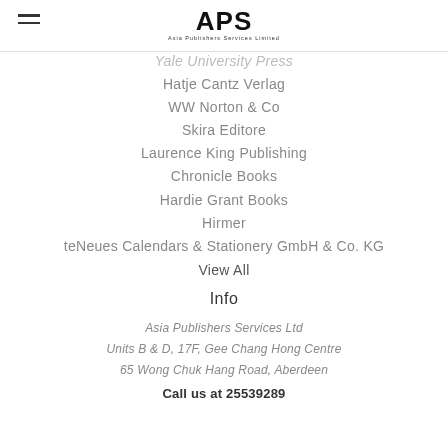APS Asia Publishers Services Limited
Yale University Press
Hatje Cantz Verlag
WW Norton & Co
Skira Editore
Laurence King Publishing
Chronicle Books
Hardie Grant Books
Hirmer
teNeues Calendars & Stationery GmbH & Co. KG
View All
Info
Asia Publishers Services Ltd
Units B & D, 17F, Gee Chang Hong Centre
65 Wong Chuk Hang Road, Aberdeen
Call us at 25539289